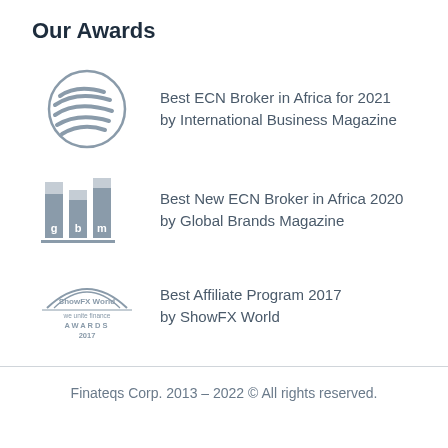Our Awards
[Figure (logo): International Business Magazine globe-like logo with curved lines]
Best ECN Broker in Africa for 2021
by International Business Magazine
[Figure (logo): Global Brands Magazine logo showing stylized g b m letters]
Best New ECN Broker in Africa 2020
by Global Brands Magazine
[Figure (logo): ShowFX World Awards 2017 logo with mountain/arch graphic and text 'we unite finance AWARDS 2017']
Best Affiliate Program 2017
by ShowFX World
Finateqs Corp. 2013 – 2022 © All rights reserved.